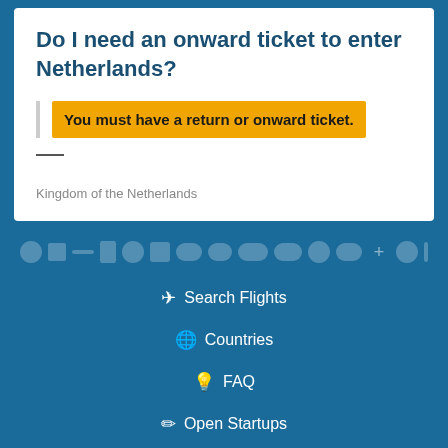Do I need an onward ticket to enter Netherlands?
You must have a return or onward ticket.
Kingdom of the Netherlands
✈ Search Flights
🌐 Countries
💡 FAQ
✏ Open Startups
⭐ Reviews